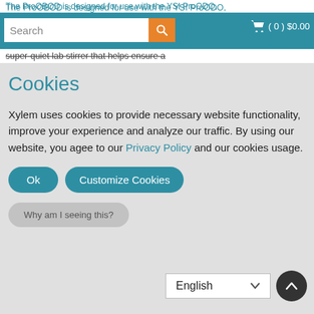The ProOBOD is designed for use with the YSI ProODO, ments. Optical, lu... (0) $0.00 technology eliminates the probe warm-up period and membrane changes. The self-stirring BOD probe has a super-quiet lab stirrer that helps ensure a
Cookies
Xylem uses cookies to provide necessary website functionality, improve your experience and analyze our traffic. By using our website, you agee to our Privacy Policy and our cookies usage.
Ok | Customize Cookies
Why am I seeing this?
English